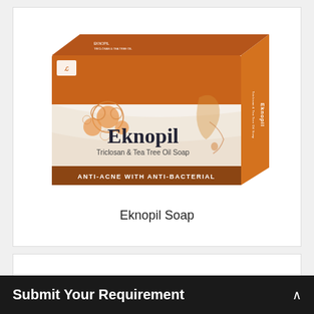[Figure (photo): Eknopil soap product box — orange and white box with bubbles graphic, 'Eknopil' brand name, 'Triclosan & Tea Tree Oil Soap' subtitle, 'ANTI-ACNE WITH ANTI-BACTERIAL' banner at bottom, woman's face silhouette on right side of box.]
Eknopil Soap
Submit Your Requirement